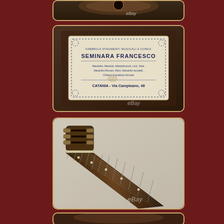[Figure (photo): Top partial photo of a musical instrument (mandolin/guitar) with eBay watermark, dark background]
[Figure (photo): Photo of a maker's label inside a string instrument reading: FABBRICA STRUMENTI MUSICALI A CORDA, SEMINARA FRANCESCO, Mandolini, Mandole, Mandolinocchi, Liuti, Viole, Mandolini Romani, Reini, Mandolini tascabili, Chitarre di qualsiasi formato, CATANIA - Via Campisano, 48. eBay watermark visible.]
[Figure (photo): Photo of the headstock and neck of a stringed instrument (mandolin/guitar) showing tuning pegs and fretboard with dot inlays, eBay watermark visible]
[Figure (photo): Partial bottom photo of an instrument, mostly cut off]